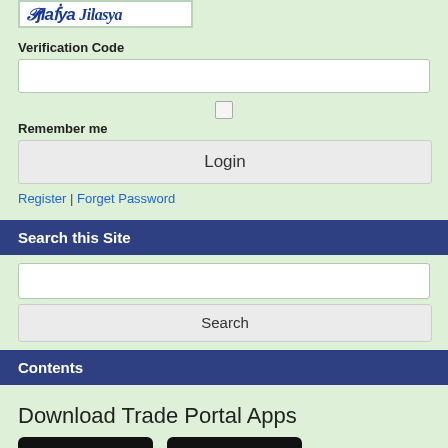[Figure (logo): Website logo with stylized text in blue italic font]
Verification Code
Remember me
Login
Register | Forget Password
Search this Site
Search
Contents
Download Trade Portal Apps
[Figure (screenshot): Google Play Store badge - GET IT ON Google Play]
[Figure (screenshot): Apple App Store badge - Download on the App Store]